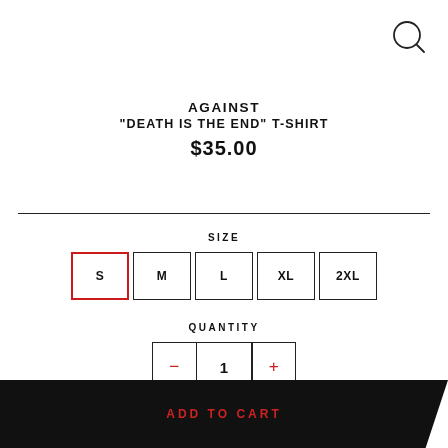[Figure (illustration): Search icon — circle with magnifying glass handle, top-right corner]
AGAINST
"DEATH IS THE END" T-SHIRT
$35.00
SIZE
S  M  L  XL  2XL
QUANTITY
–  1  +
ADD TO CART